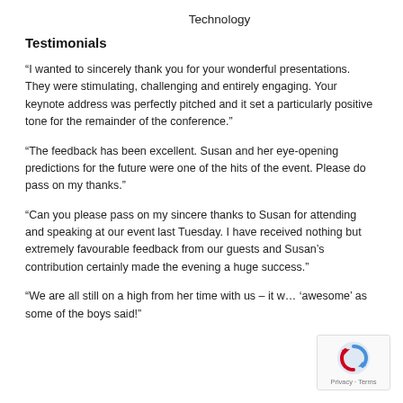Technology
Testimonials
“I wanted to sincerely thank you for your wonderful presentations. They were stimulating, challenging and entirely engaging. Your keynote address was perfectly pitched and it set a particularly positive tone for the remainder of the conference.”
“The feedback has been excellent. Susan and her eye-opening predictions for the future were one of the hits of the event. Please do pass on my thanks.”
“Can you please pass on my sincere thanks to Susan for attending and speaking at our event last Tuesday. I have received nothing but extremely favourable feedback from our guests and Susan’s contribution certainly made the evening a huge success.”
“We are all still on a high from her time with us – it w… ‘awesome’ as some of the boys said!”